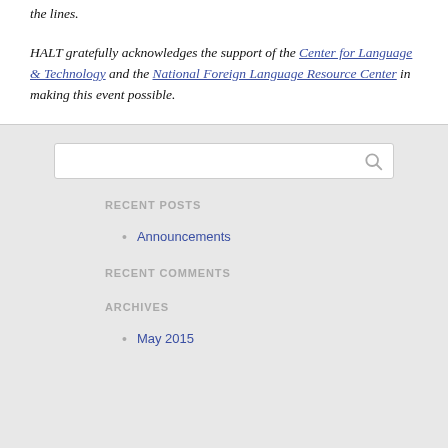the lines.
HALT gratefully acknowledges the support of the Center for Language & Technology and the National Foreign Language Resource Center in making this event possible.
[Figure (other): Search bar with magnifying glass icon on gray background]
RECENT POSTS
Announcements
RECENT COMMENTS
ARCHIVES
May 2015